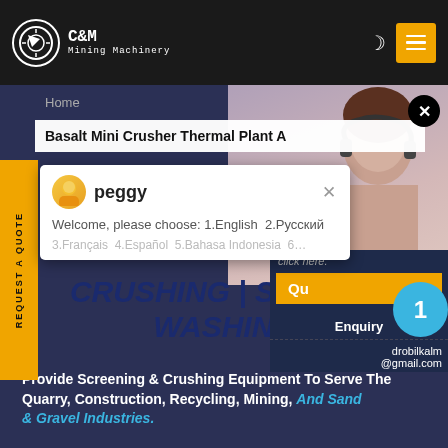C&M Mining Machinery
Home
Basalt Mini Crusher Thermal Plant A
REQUEST A QUOTE
peggy
Welcome, please choose: 1.English  2.Русский
CRUSHING | SCREENING | WASHING
click here.
Qu
1
Enquiry
drobilkalm@gmail.com
Provide Screening & Crushing Equipment To Serve The Quarry, Construction, Recycling, Mining, And Sand & Gravel Industries.